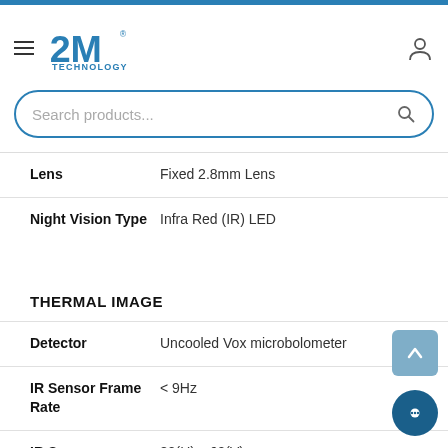[Figure (logo): 2M Technology logo with hamburger menu and user icon in page header]
[Figure (screenshot): Search products input bar with magnifying glass icon]
| Spec | Value |
| --- | --- |
| Lens | Fixed 2.8mm Lens |
| Night Vision Type | Infra Red (IR) LED |
THERMAL IMAGE
| Spec | Value |
| --- | --- |
| Detector | Uncooled Vox microbolometer |
| IR Sensor Frame Rate | < 9Hz |
| IR Sensor | 80(H) x 60(V) |